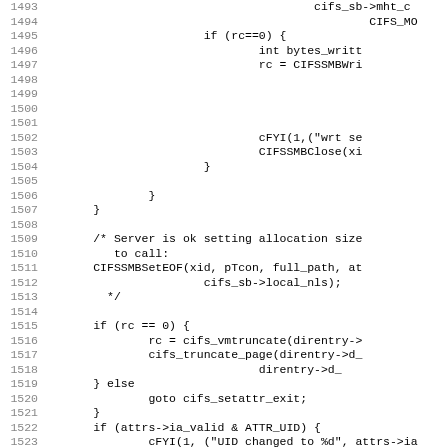Source code listing, lines 1493-1525, showing C code for CIFS SMB file operations including write, truncate, and attribute setting functions.